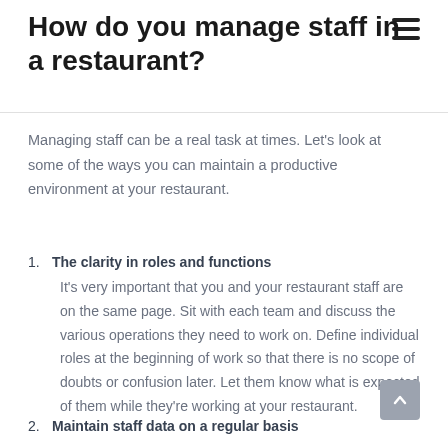How do you manage staff in a restaurant?
Managing staff can be a real task at times. Let's look at some of the ways you can maintain a productive environment at your restaurant.
1. The clarity in roles and functions
It's very important that you and your restaurant staff are on the same page. Sit with each team and discuss the various operations they need to work on. Define individual roles at the beginning of work so that there is no scope of doubts or confusion later. Let them know what is expected of them while they're working at your restaurant.
2. Maintain staff data on a regular basis